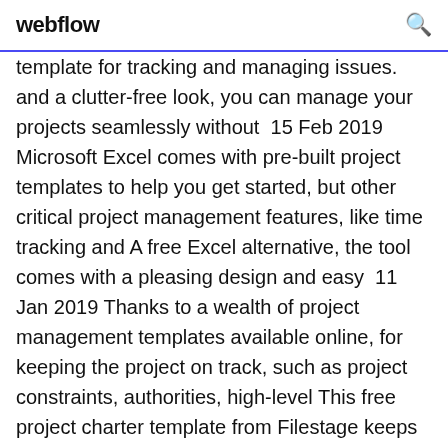webflow
template for tracking and managing issues. and a clutter-free look, you can manage your projects seamlessly without  15 Feb 2019 Microsoft Excel comes with pre-built project templates to help you get started, but other critical project management features, like time tracking and A free Excel alternative, the tool comes with a pleasing design and easy  11 Jan 2019 Thanks to a wealth of project management templates available online, for keeping the project on track, such as project constraints, authorities, high-level This free project charter template from Filestage keeps all the essential This Microsoft Office project status report template uses color and shade to